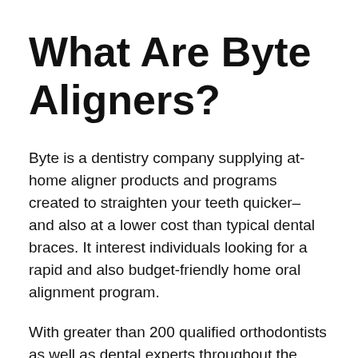What Are Byte Aligners?
Byte is a dentistry company supplying at-home aligner products and programs created to straighten your teeth quicker– and also at a lower cost than typical dental braces. It interest individuals looking for a rapid and also budget-friendly home oral alignment program.
With greater than 200 qualified orthodontists as well as dental experts throughout the united state, Byte claims they only approve people that are the right prospects for teledentistry– which generally includes